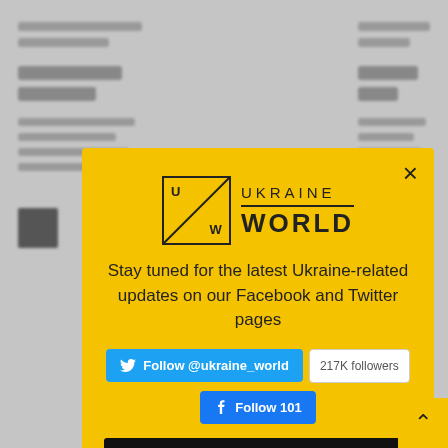[Figure (screenshot): Blurred website background behind modal popup]
[Figure (infographic): UkraineWorld social media follow modal popup with yellow background, logo, tagline, Twitter follow button showing @ukraine_world and 217K followers, Facebook follow button showing 101, and a black 'I'm Already With You' button]
UKRAINE WORLD
Stay tuned for the latest Ukraine-related updates on our Facebook and Twitter pages
Follow @ukraine_world
217K followers
Follow 101
I'M ALREADY WITH YOU